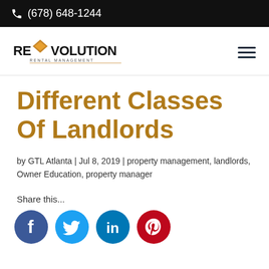(678) 648-1244
[Figure (logo): Revolution Rental Management logo with orange house/diamond shape and text REVOLUTION RENTAL MANAGEMENT]
Different Classes Of Landlords
by GTL Atlanta | Jul 8, 2019 | property management, landlords, Owner Education, property manager
Share this...
[Figure (infographic): Social media share buttons: Facebook (blue), Twitter (light blue), LinkedIn (blue), Pinterest (red)]